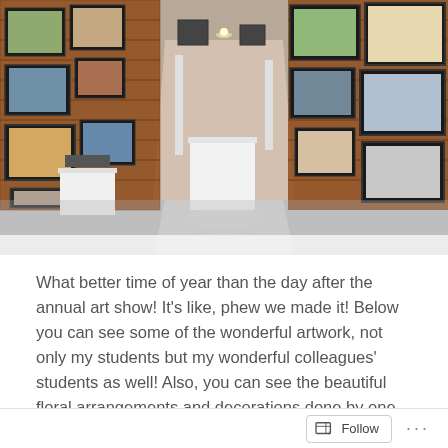[Figure (photo): An art gallery interior with brick walls covered in framed artwork, a polished floor corridor, white display pedestals, and warm lighting throughout.]
What better time of year than the day after the annual art show! It's like, phew we made it! Below you can see some of the wonderful artwork, not only my students but my wonderful colleagues' students as well! Also, you can see the beautiful floral arrangements and decorations done by one of our parent...
Continue Reading